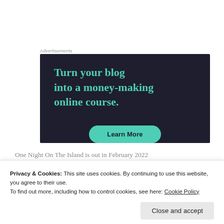Advertisements
[Figure (illustration): Advertisement banner with dark navy background. Large teal serif text reads 'Turn your blog into a money-making online course.' with a teal 'Learn More' button at the bottom.]
One Night On The Island is out in February 2022
Privacy & Cookies: This site uses cookies. By continuing to use this website, you agree to their use.
To find out more, including how to control cookies, see here: Cookie Policy
Close and accept